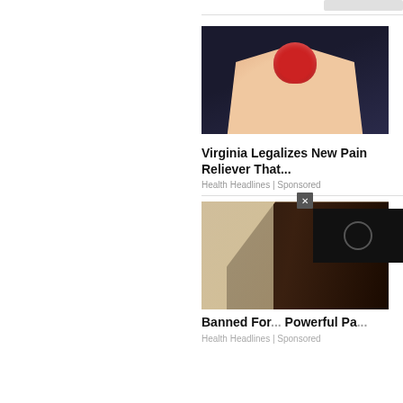[Figure (photo): A hand holding a red gummy candy against a dark background]
Virginia Legalizes New Pain Reliever That...
Health Headlines | Sponsored
[Figure (photo): A person using a dropper to put liquid into their mouth]
Banned For... Powerful Pa...
Health Headlines | Sponsored